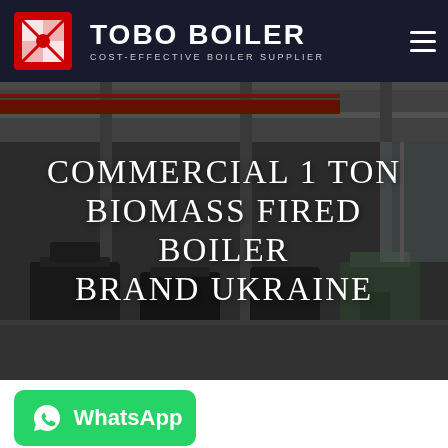TOBO BOILER — COST-EFFECTIVE BOILER SUPPLIER
[Figure (photo): Industrial boiler manufacturing facility interior with large boilers and crane overhead, dark overlay]
COMMERCIAL 1 TON BIOMASS FIRED BOILER BRAND UKRAINE
[Figure (logo): WhatsApp button — green rounded rectangle with WhatsApp icon and text 'WhatsApp']